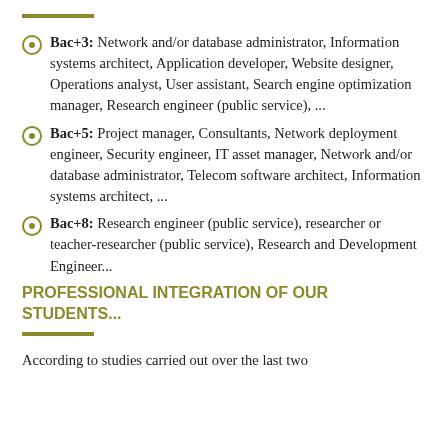Bac+3: Network and/or database administrator, Information systems architect, Application developer, Website designer, Operations analyst, User assistant, Search engine optimization manager, Research engineer (public service), ...
Bac+5: Project manager, Consultants, Network deployment engineer, Security engineer, IT asset manager, Network and/or database administrator, Telecom software architect, Information systems architect, ...
Bac+8: Research engineer (public service), researcher or teacher-researcher (public service), Research and Development Engineer...
PROFESSIONAL INTEGRATION OF OUR STUDENTS...
According to studies carried out over the last two